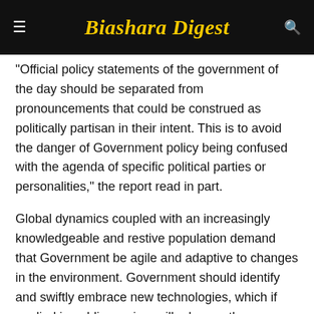Biashara Digest
“Official policy statements of the government of the day should be separated from pronouncements that could be construed as politically partisan in their intent. This is to avoid the danger of Government policy being confused with the agenda of specific political parties or personalities,” the report read in part.
Global dynamics coupled with an increasingly knowledgeable and restive population demand that Government be agile and adaptive to changes in the environment. Government should identify and swiftly embrace new technologies, which if applied in public service, will advance the Governance principles of transparency, equal opportunity, public participation, integrity and efficient service delivery.”
The task force also received oral and written submissions from key government institutions, semi autonomous